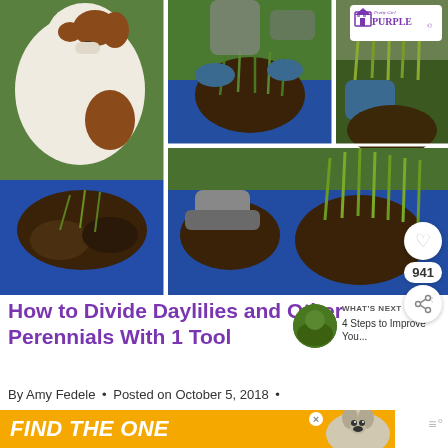[Figure (photo): Collage of 4 photos showing how to divide daylilies: top-left shows a dog sniffing a clump of soil on a blue tarp; top-middle shows two people dividing a plant clump; top-right shows close-up of gloved hands with a PrettyPurple logo; bottom shows a person's feet and divided plant clumps on a blue tarp]
How to Divide Daylilies and Other Perennials With 1 Tool
[Figure (photo): Small circular thumbnail of a garden/plant photo for 'What's Next' sidebar]
WHAT'S NEXT → 4 Steps to Improve You...
By Amy Fedele • Posted on October 5, 2018 •
[Figure (photo): Advertisement banner: FIND THE ONE with a dog image, orange background]